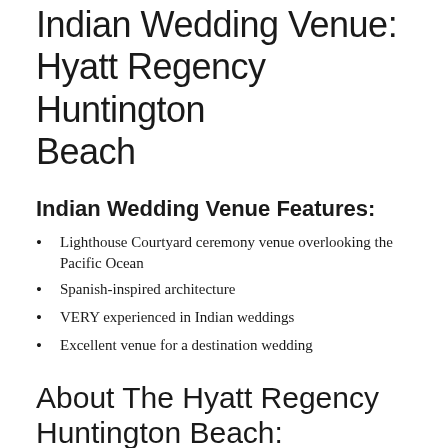Indian Wedding Venue: Hyatt Regency Huntington Beach
Indian Wedding Venue Features:
Lighthouse Courtyard ceremony venue overlooking the Pacific Ocean
Spanish-inspired architecture
VERY experienced in Indian weddings
Excellent venue for a destination wedding
About The Hyatt Regency Huntington Beach: